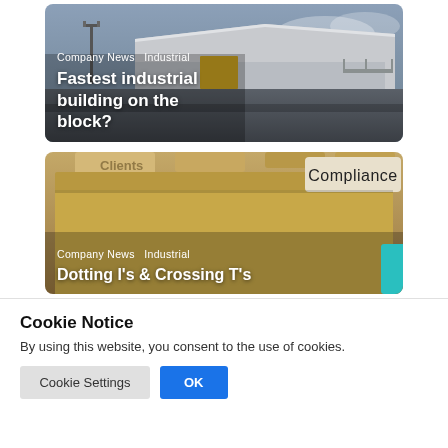[Figure (photo): Industrial warehouse building exterior photo with grey sky, used as card background]
Company News  Industrial
Fastest industrial building on the block?
[Figure (photo): File folders with a Compliance tab in foreground and Clients tab visible, warm brown tones]
Company News  Industrial
Dotting I's & Crossing T's
Cookie Notice
By using this website, you consent to the use of cookies.
Cookie Settings  OK